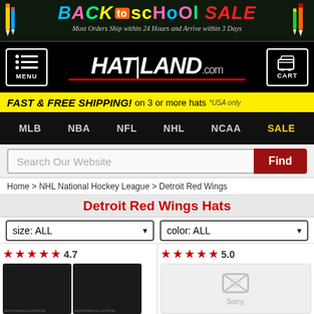[Figure (screenshot): Back to School Sale banner with colorful text on dark background with pencil graphics. Text: BACK to scHoOL SALE. Subtitle: Most Orders Ship within 24 Hours and Arrive within 3 Days]
[Figure (logo): HATland.com logo with MENU button on left and CART button on right, on black background]
FAST & FREE SHIPPING! on 3 or more hats *USA only
MLB   NBA   NFL   NHL   NCAA   SALE
Search Our Website
Home > NHL National Hockey League > Detroit Red Wings
Detroit Red Wings Hats
size: ALL
color: ALL
[Figure (photo): Two Detroit Red Wings baseball caps side by side, black caps on dark background. Rating: 4.7 stars]
[Figure (photo): Broken image placeholder with Sorry text. Rating: 5.0 stars]